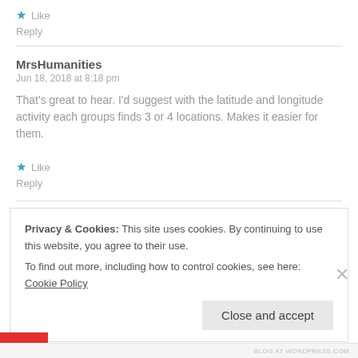★ Like
Reply
MrsHumanities
Jun 18, 2018 at 8:18 pm
That's great to hear. I'd suggest with the latitude and longitude activity each groups finds 3 or 4 locations. Makes it easier for them.
★ Like
Reply
Privacy & Cookies: This site uses cookies. By continuing to use this website, you agree to their use. To find out more, including how to control cookies, see here: Cookie Policy
Close and accept